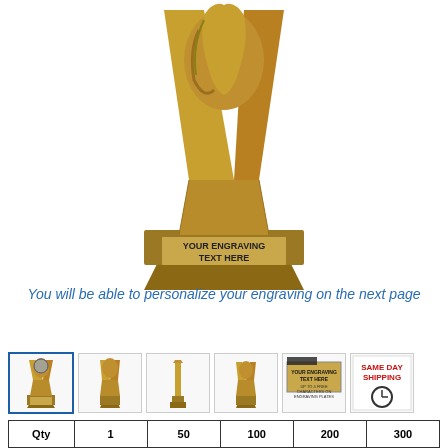[Figure (photo): Gold trophy with a V-shape and a horse head figure on top, with a gold engraving plate on the base showing 'YOUR ENGRAVING TEXT HERE']
You will be able to personalize your engraving on the next page
[Figure (photo): Row of product thumbnail images: main trophy front view (selected/highlighted), back view, side view, another angle, engraving plate detail, and same day shipping badge]
| Qty | 1 | 50 | 100 | 200 | 300 |
| --- | --- | --- | --- | --- | --- |